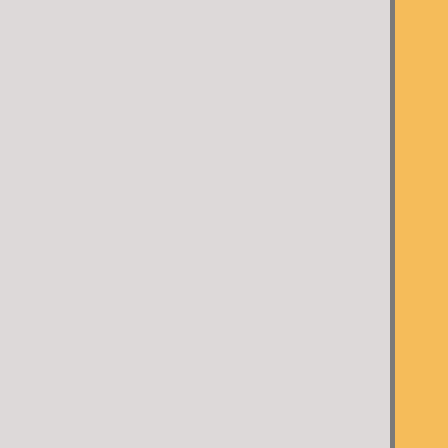Keys
Strongbox Key · Stockpile Crate · Late Summer C · of the Line Key · Winter Crate Ke · Winter Crate Ke · Mettle Key · Gu · Cosmetic Key · Community Up · Key · Gargoyle · Break Key · To · Cosmetic Key · Cosmetic Key · Key · Rainy Da · Key · Abominabl · Key · Unleash t · Cosmetic Key · Jackpot War Pa · Key · Infernal R · Paint Key · Wim · Cosmetic Key · War Paint Key · Cosmetic Key · Key · Scream P · Paint Key · Wi